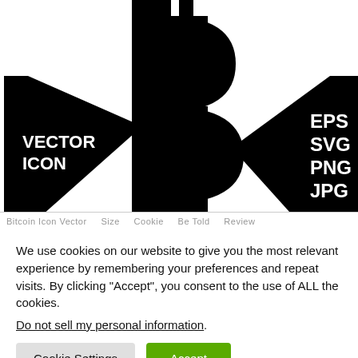[Figure (illustration): Bitcoin vector icon illustration on white background. A large black Bitcoin logo (stylized B with two vertical lines at top and bottom) centered. On the left, a black triangular/arrow shape with white bold text 'VECTOR ICON'. On the right, a black rotated quadrilateral shape with white bold text 'EPS SVG PNG JPG'.]
We use cookies on our website to give you the most relevant experience by remembering your preferences and repeat visits. By clicking “Accept”, you consent to the use of ALL the cookies.
Do not sell my personal information.
Cookie Settings  Accept